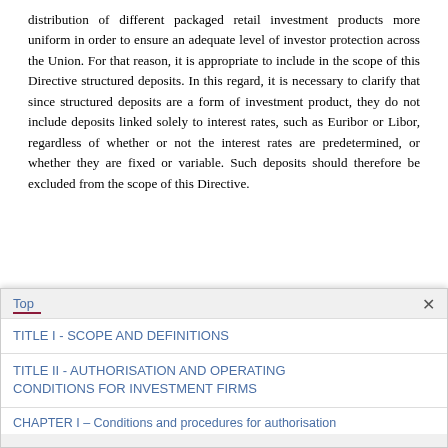distribution of different packaged retail investment products more uniform in order to ensure an adequate level of investor protection across the Union. For that reason, it is appropriate to include in the scope of this Directive structured deposits. In this regard, it is necessary to clarify that since structured deposits are a form of investment product, they do not include deposits linked solely to interest rates, such as Euribor or Libor, regardless of whether or not the interest rates are predetermined, or whether they are fixed or variable. Such deposits should therefore be excluded from the scope of this Directive.
(40)The application of this Directive to investment firms and credit institutions when selling or advising clients in relation to structured deposits should be understood as when acting...
TITLE I - SCOPE AND DEFINITIONS
TITLE II - AUTHORISATION AND OPERATING CONDITIONS FOR INVESTMENT FIRMS
CHAPTER I – Conditions and procedures for authorisation